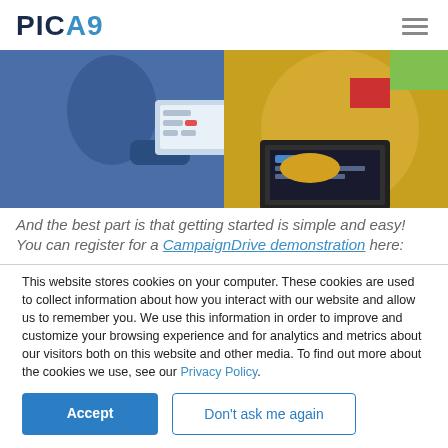PICA9
[Figure (photo): A circular cropped hero image showing a person in a blue jacket using a touchscreen interface on the left, and a person with yellow gloves working on a laptop on the right, against a light background.]
And the best part is that getting started is simple and easy! You can register for a CampaignDrive demonstration here:
This website stores cookies on your computer. These cookies are used to collect information about how you interact with our website and allow us to remember you. We use this information in order to improve and customize your browsing experience and for analytics and metrics about our visitors both on this website and other media. To find out more about the cookies we use, see our Privacy Policy.
Accept
Don't ask me again